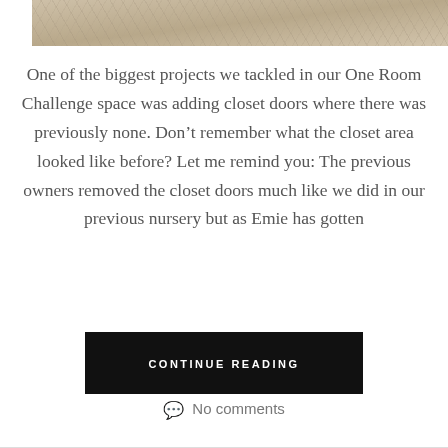[Figure (photo): Top portion of a photo showing what appears to be a textured fabric or animal fur, cropped at the top of the page.]
One of the biggest projects we tackled in our One Room Challenge space was adding closet doors where there was previously none. Don’t remember what the closet area looked like before? Let me remind you: The previous owners removed the closet doors much like we did in our previous nursery but as Emie has gotten
CONTINUE READING
No comments